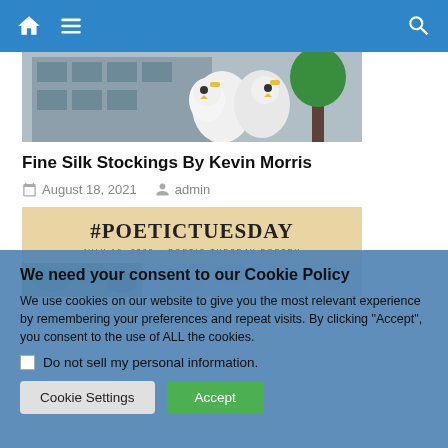Navigation bar with home, menu, and search icons
[Figure (photo): Photo of two white mascot/puppet characters in front of a building]
Fine Silk Stockings By Kevin Morris
August 18, 2021   admin
[Figure (photo): #POETICTUESDAY card with text 'JULY 19, 2022 - POETIC TUESDAY POETRY' on a tan/beige background with a green flower photo strip at bottom]
We need your consent to our Cookie Policy
We use cookies on our website to give you the most relevant experience by remembering your preferences and repeat visits. By clicking “Accept”, you consent to the use of ALL the cookies.
Do not sell my personal information.
Cookie Settings   Accept